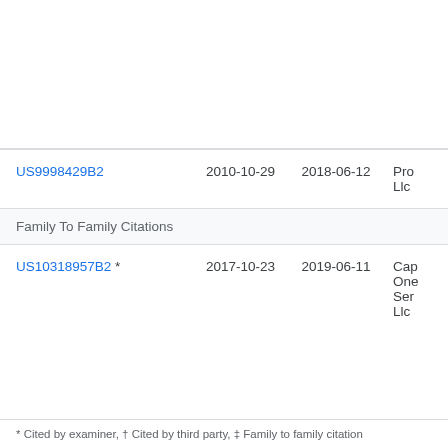| Patent | Filed | Published | Assignee |
| --- | --- | --- | --- |
| US9998429B2 | 2010-10-29 | 2018-06-12 | Pro Llc |
| Family To Family Citations |  |  |  |
| US10318957B2 * | 2017-10-23 | 2019-06-11 | Cap One Ser Llc |
* Cited by examiner, † Cited by third party, ‡ Family to family citation